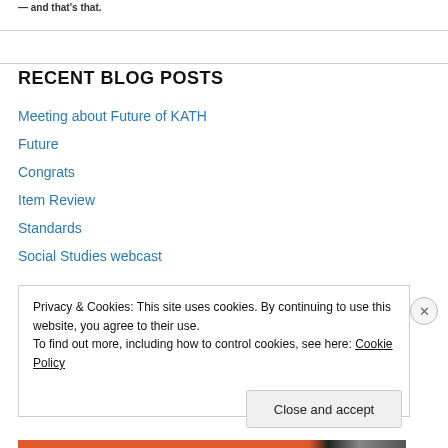— and that's that.
RECENT BLOG POSTS
Meeting about Future of KATH
Future
Congrats
Item Review
Standards
Social Studies webcast
Privacy & Cookies: This site uses cookies. By continuing to use this website, you agree to their use.
To find out more, including how to control cookies, see here: Cookie Policy
Close and accept